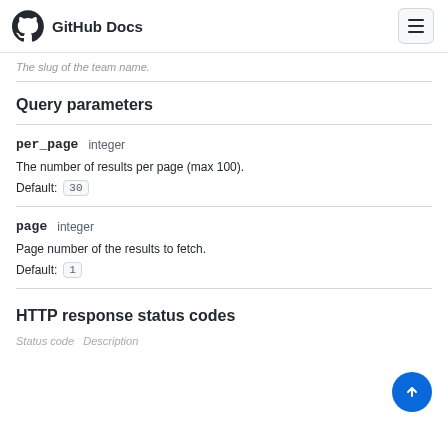GitHub Docs
The slug of the team name.
Query parameters
per_page   integer
The number of results per page (max 100).
Default: 30
page   integer
Page number of the results to fetch.
Default: 1
HTTP response status codes
Status code   Description